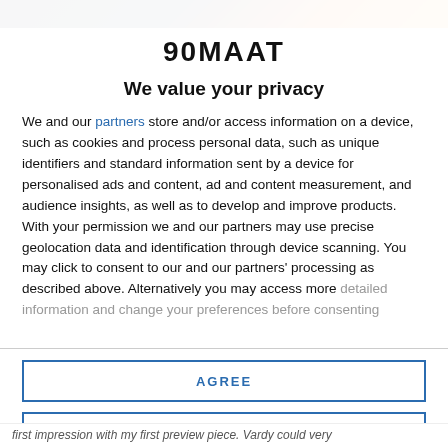[Figure (photo): Top banner image with dark blue and orange gradient background, partially visible sports/football scene]
90MAAT
We value your privacy
We and our partners store and/or access information on a device, such as cookies and process personal data, such as unique identifiers and standard information sent by a device for personalised ads and content, ad and content measurement, and audience insights, as well as to develop and improve products. With your permission we and our partners may use precise geolocation data and identification through device scanning. You may click to consent to our and our partners' processing as described above. Alternatively you may access more detailed information and change your preferences before consenting
AGREE
MORE OPTIONS
first impression with my first preview piece. Vardy could very